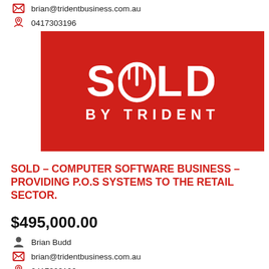brian@tridentbusiness.com.au
0417303196
[Figure (logo): SOLD BY TRIDENT logo – white text on red background. Large 'SOLD' text with a trident/pillar icon replacing the 'O', and 'BY TRIDENT' in smaller spaced capitals below.]
SOLD – COMPUTER SOFTWARE BUSINESS – PROVIDING P.O.S SYSTEMS TO THE RETAIL SECTOR.
$495,000.00
Brian Budd
brian@tridentbusiness.com.au
0417303196